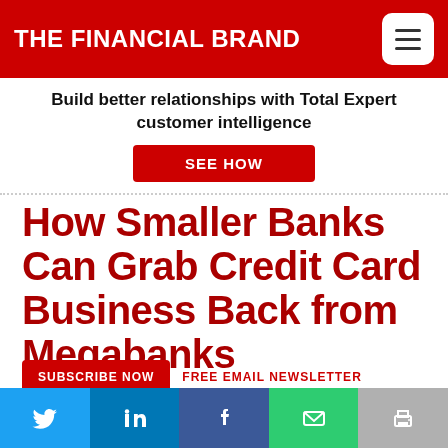THE FINANCIAL BRAND
Build better relationships with Total Expert customer intelligence
SEE HOW
How Smaller Banks Can Grab Credit Card Business Back from Megabanks
SUBSCRIBE NOW   FREE EMAIL NEWSLETTER
Consumer media often focuses on the card...